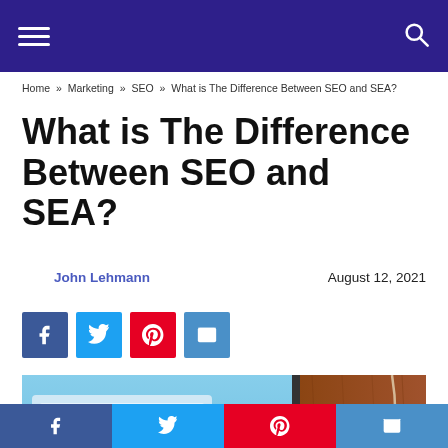Navigation bar with hamburger menu and search icon
Home » Marketing » SEO » What is The Difference Between SEO and SEA?
What is The Difference Between SEO and SEA?
John Lehmann    August 12, 2021
[Figure (infographic): Social share buttons: Facebook (blue), Twitter (light blue), Pinterest (red), Email (teal)]
[Figure (photo): Photo showing a laptop screen with a browser open next to a wooden surface with earphones]
Bottom social share bar: Facebook, Twitter, Pinterest, Email